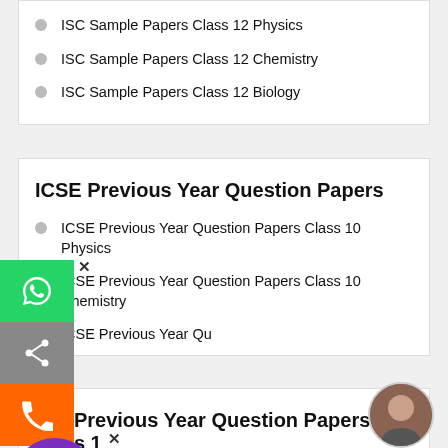ISC Sample Papers Class 12 Physics
ISC Sample Papers Class 12 Chemistry
ISC Sample Papers Class 12 Biology
ICSE Previous Year Question Papers
ICSE Previous Year Question Papers Class 10 Physics
ICSE Previous Year Question Papers Class 10 Chemistry
ICSE Previous Year Qu...
ISC Previous Year Question Papers class 1...
ISC Previous Year Question Papers Class 12 Physics